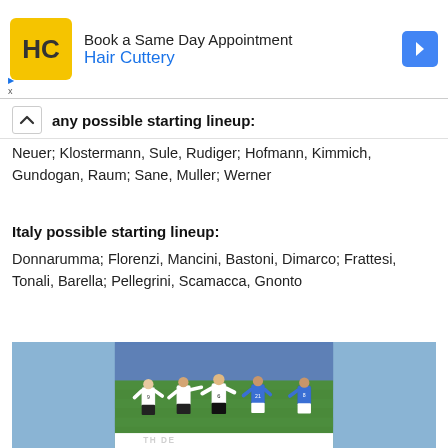[Figure (other): Hair Cuttery advertisement banner with yellow logo, company name in blue, and blue arrow icon]
any possible starting lineup:
Neuer; Klostermann, Sule, Rudiger; Hofmann, Kimmich, Gundogan, Raum; Sane, Muller; Werner
Italy possible starting lineup:
Donnarumma; Florenzi, Mancini, Bastoni, Dimarco; Frattesi, Tonali, Barella; Pellegrini, Scamacca, Gnonto
[Figure (photo): Football match photo showing Germany players in white jerseys (including number 9 and number 6) celebrating, with Italy players in blue jerseys (including number 21 and number 8) looking dejected, stadium in background]